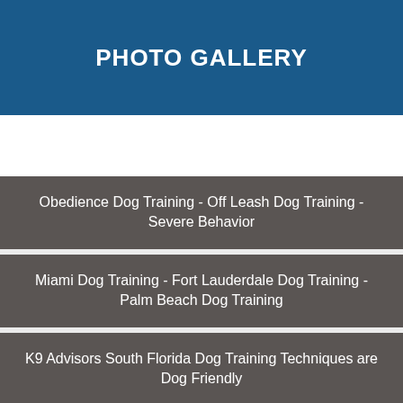PHOTO GALLERY
Obedience Dog Training - Off Leash Dog Training - Severe Behavior
Miami Dog Training - Fort Lauderdale Dog Training - Palm Beach Dog Training
K9 Advisors South Florida Dog Training Techniques are Dog Friendly
[Figure (photo): Outdoor chain-link fence with greenery visible behind it, partially cropped at bottom of page]